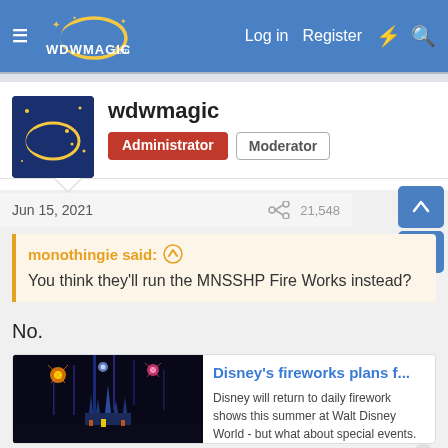wdwmagic.com — Log in   Register   ⚡   🔍
[Figure (screenshot): wdwmagic.com user profile for 'wdwmagic' showing Administrator and Moderator badges with avatar logo]
Jun 15, 2021
monothingie said: ↑
You think they'll run the MNSSHP Fire Works instead?
No.
[Figure (screenshot): Link card for 'Disney's fireworks plans f...' article with fireworks over Cinderella Castle image. Description: Disney will return to daily firework shows this summer at Walt Disney World - but what about special events. URL: www.wdwmagic.com]